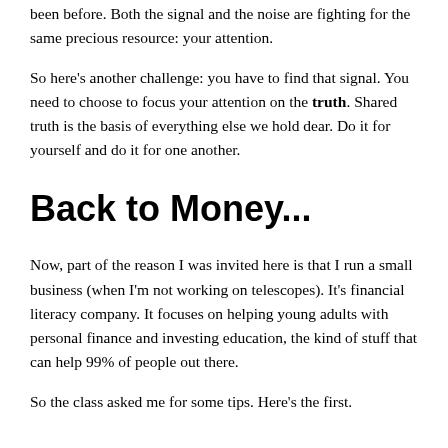been before. Both the signal and the noise are fighting for the same precious resource: your attention.
So here's another challenge: you have to find that signal. You need to choose to focus your attention on the truth. Shared truth is the basis of everything else we hold dear. Do it for yourself and do it for one another.
Back to Money...
Now, part of the reason I was invited here is that I run a small business (when I'm not working on telescopes). It's financial literacy company. It focuses on helping young adults with personal finance and investing education, the kind of stuff that can help 99% of people out there.
So the class asked me for some tips. Here's the first.